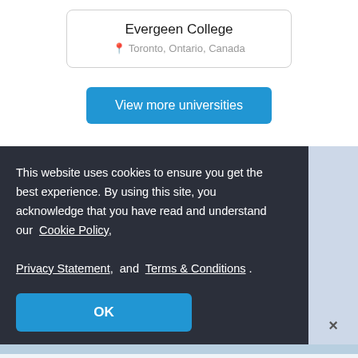Evergeen College
Toronto, Ontario, Canada
View more universities
This website uses cookies to ensure you get the best experience. By using this site, you acknowledge that you have read and understand our Cookie Policy, Privacy Statement, and Terms & Conditions .
OK